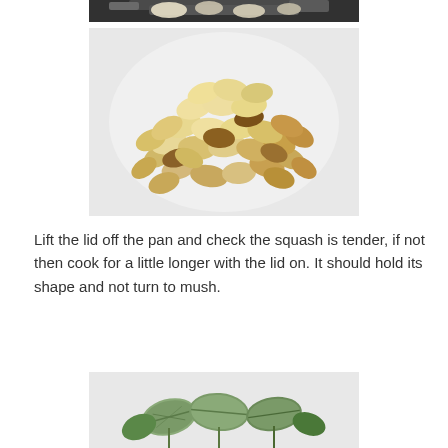[Figure (photo): Cropped top of a dark plate with food items, partial view at top of page]
[Figure (photo): A pile of toasted pine nuts on a white background, some with golden-brown coloring]
Lift the lid off the pan and check the squash is tender, if not then cook for a little longer with the lid on. It should hold its shape and not turn to mush.
[Figure (photo): Fresh green herbs including sage leaves on a white background, partially visible at bottom of page]